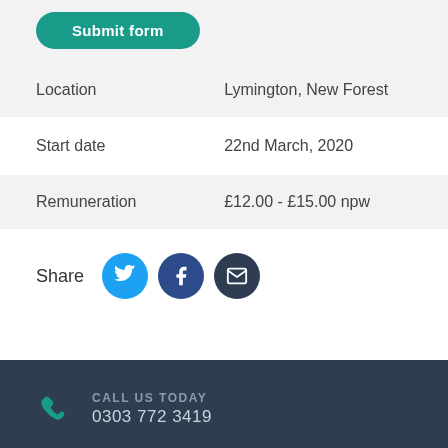Submit form
| Location | Lymington, New Forest |
| Start date | 22nd March, 2020 |
| Remuneration | £12.00 - £15.00 npw |
Share
CALL US TODAY
0303 772 3419